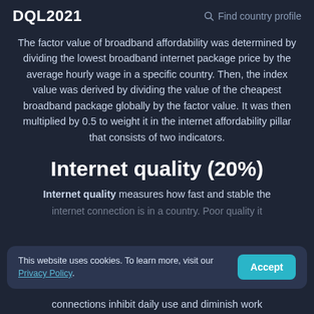DQL2021   Find country profile
The factor value of broadband affordability was determined by dividing the lowest broadband internet package price by the average hourly wage in a specific country. Then, the index value was derived by dividing the value of the cheapest broadband package globally by the factor value. It was then multiplied by 0.5 to weight it in the internet affordability pillar that consists of two indicators.
Internet quality (20%)
Internet quality measures how fast and stable the internet connection is in a country. Poor quality connections inhibit daily use and diminish work
This website uses cookies. To learn more, visit our Privacy Policy.
connections inhibit daily use and diminish work